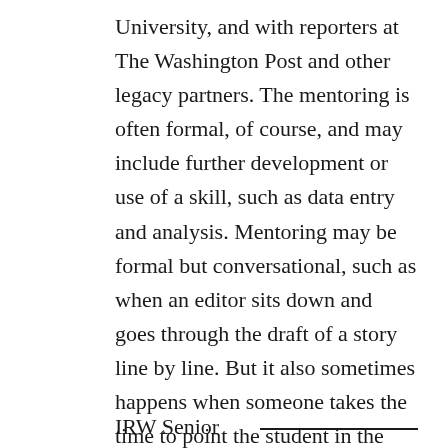University, and with reporters at The Washington Post and other legacy partners. The mentoring is often formal, of course, and may include further development or use of a skill, such as data entry and analysis. Mentoring may be formal but conversational, such as when an editor sits down and goes through the draft of a story line by line. But it also sometimes happens when someone takes the time to point the student in the right direction, perhaps after she submits a research memo and discusses the best way to focus a story.
IRW Senior